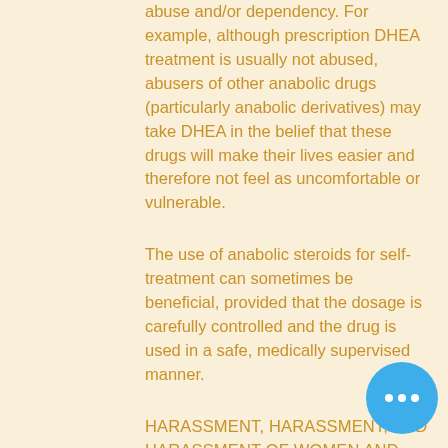abuse and/or dependency. For example, although prescription DHEA treatment is usually not abused, abusers of other anabolic drugs (particularly anabolic derivatives) may take DHEA in the belief that these drugs will make their lives easier and therefore not feel as uncomfortable or vulnerable.
The use of anabolic steroids for self-treatment can sometimes be beneficial, provided that the dosage is carefully controlled and the drug is used in a safe, medically supervised manner.
HARASSMENT, HARASSMENT, AND HARASSMENT OF WOMEN AND WOMEN'S PROFANITIES
"No woman's place is safe - not my own, my neighbor's, not yours" is a maxim often heard by some men; however, in spite of